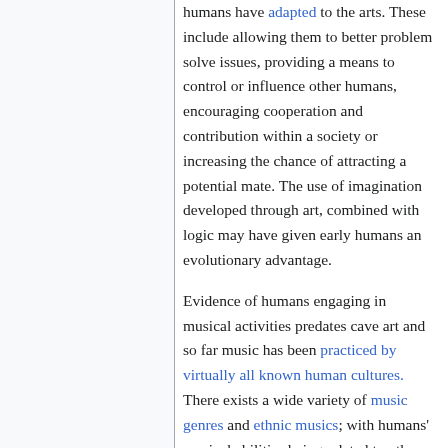humans have adapted to the arts. These include allowing them to better problem solve issues, providing a means to control or influence other humans, encouraging cooperation and contribution within a society or increasing the chance of attracting a potential mate. The use of imagination developed through art, combined with logic may have given early humans an evolutionary advantage.
Evidence of humans engaging in musical activities predates cave art and so far music has been practiced by virtually all known human cultures. There exists a wide variety of music genres and ethnic musics; with humans' musical abilities being related to other abilities, including complex social human behaviours. It has been shown that human brains respond